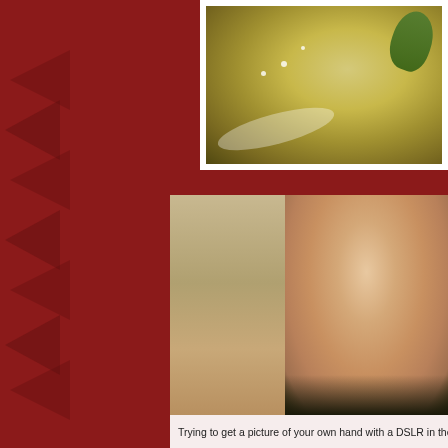[Figure (photo): Top photo showing a plate of food with golden/yellow items and green herbs on a white plate, partially visible, cut off at right edge]
[Figure (photo): Close-up blurred photo of a hand photographed with a DSLR camera, showing skin texture in warm tones with shallow depth of field]
Trying to get a picture of your own hand with a DSLR in the o